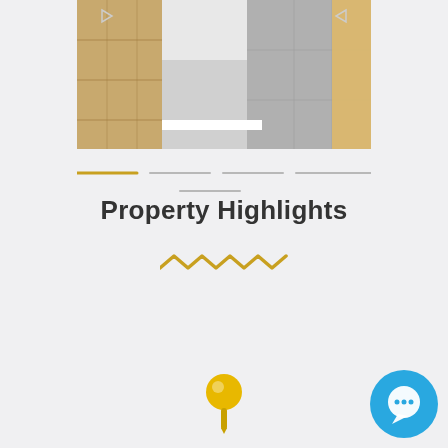[Figure (photo): Interior hallway photo showing wood flooring, white wainscoting, grey tile, and a door with natural light]
[Figure (infographic): Horizontal navigation dots/lines indicator with first segment highlighted in gold/yellow and four grey segments, plus a centered fifth segment below]
Property Highlights
[Figure (infographic): Gold/yellow squiggly zigzag decorative line]
[Figure (infographic): Gold/yellow map pin / location marker icon]
[Figure (infographic): Blue circular chat/speech bubble button icon in bottom-right corner]